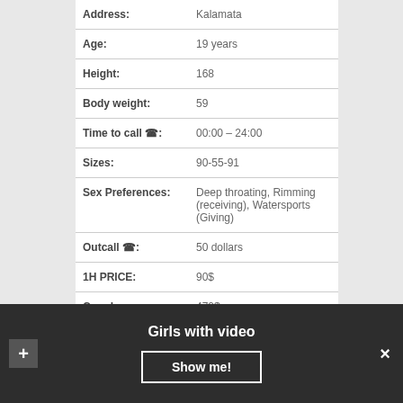| Address: | Kalamata |
| Age: | 19 years |
| Height: | 168 |
| Body weight: | 59 |
| Time to call ☎: | 00:00 – 24:00 |
| Sizes: | 90-55-91 |
| Sex Preferences: | Deep throating, Rimming (receiving), Watersports (Giving) |
| Outcall ☎: | 50 dollars |
| 1H PRICE: | 90$ |
| Couples: | 470$ |
| Languages: | English |
Girls with video
Show me!